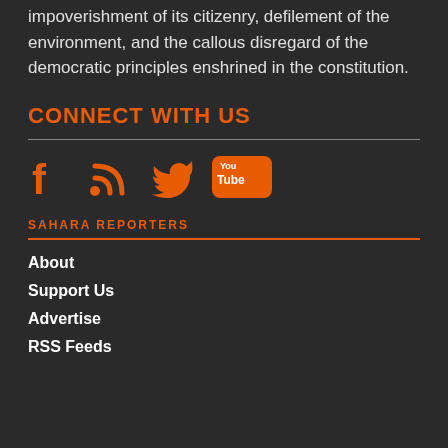impoverishment of its citizenry, defilement of the environment, and the callous disregard of the democratic principles enshrined in the constitution.
CONNECT WITH US
[Figure (illustration): Social media icons: Facebook, RSS, Twitter, YouTube in orange color]
SAHARA REPORTERS
About
Support Us
Advertise
RSS Feeds